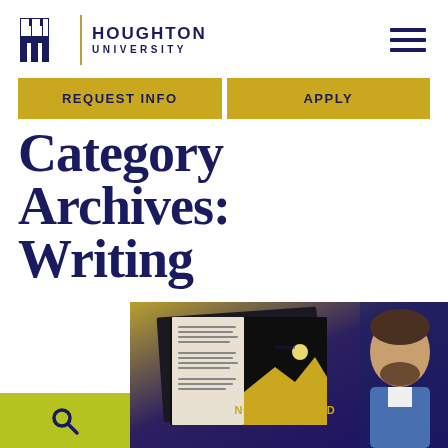Houghton University
REQUEST INFO
APPLY
Category Archives: Writing
[Figure (photo): Book cover 'Nomad, Nomad' with open pages and a young man with beard in background against dark blue background]